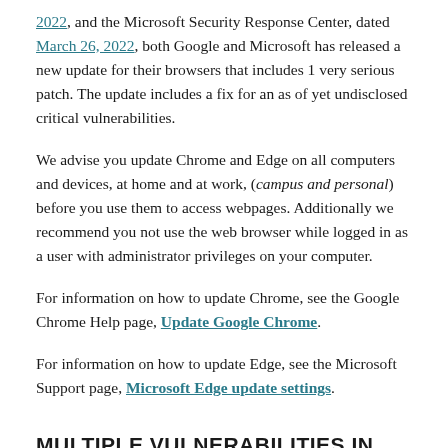2022, and the Microsoft Security Response Center, dated March 26, 2022, both Google and Microsoft has released a new update for their browsers that includes 1 very serious patch. The update includes a fix for an as of yet undisclosed critical vulnerabilities.
We advise you update Chrome and Edge on all computers and devices, at home and at work, (campus and personal) before you use them to access webpages. Additionally we recommend you not use the web browser while logged in as a user with administrator privileges on your computer.
For information on how to update Chrome, see the Google Chrome Help page, Update Google Chrome.
For information on how to update Edge, see the Microsoft Support page, Microsoft Edge update settings.
MULTIPLE VULNERABILITIES IN GOOGLE CHROME,